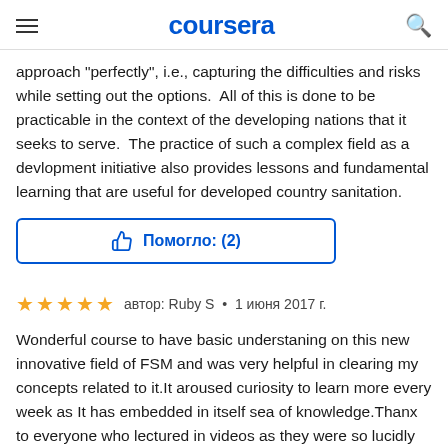coursera
approach "perfectly", i.e., capturing the difficulties and risks while setting out the options.  All of this is done to be practicable in the context of the developing nations that it seeks to serve.  The practice of such a complex field as a devlopment initiative also provides lessons and fundamental learning that are useful for developed country sanitation.
Помогло: (2)
автор: Ruby S  •  1 июня 2017 г.
Wonderful course to have basic understaning on this new innovative field of FSM and was very helpful in clearing my concepts related to it.It aroused curiosity to learn more every week as It has embedded in itself sea of knowledge.Thanx to everyone who lectured in videos as they were so lucidly